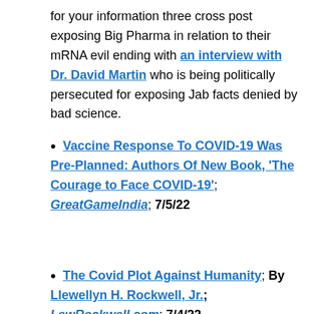for your information three cross post exposing Big Pharma in relation to their mRNA evil ending with an interview with Dr. David Martin who is being politically persecuted for exposing Jab facts denied by bad science.
Vaccine Response To COVID-19 Was Pre-Planned: Authors Of New Book, 'The Courage to Face COVID-19'; GreatGameIndia; 7/5/22
The Covid Plot Against Humanity; By Llewellyn H. Rockwell, Jr.; LewRockwell.com; 7/4/22
Will Pfizer Be Charged for Mislabeling